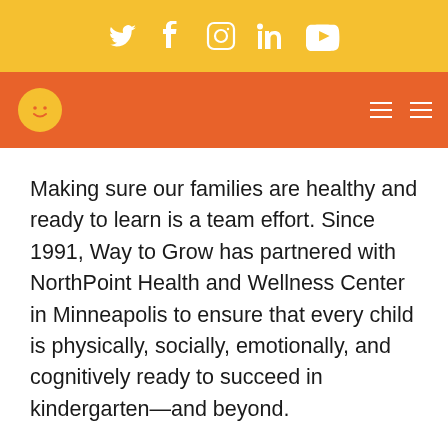Social media icons: Twitter, Facebook, Instagram, LinkedIn, YouTube
[Figure (logo): Way to Grow logo — smiley face circle in yellow on orange navigation bar, with hamburger menu icons on the right]
Making sure our families are healthy and ready to learn is a team effort. Since 1991, Way to Grow has partnered with NorthPoint Health and Wellness Center in Minneapolis to ensure that every child is physically, socially, emotionally, and cognitively ready to succeed in kindergarten—and beyond.
NorthPoint is a pillar of North Minneapolis and has been serving families in the area since 1967. Located just down the road from Way to Grow, they provide a broad range of medical…